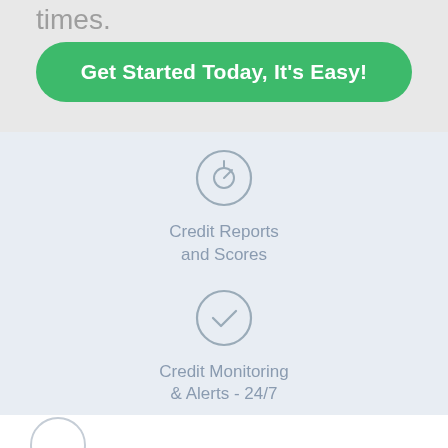times.
Get Started Today, It's Easy!
[Figure (illustration): Circular gauge/speedometer icon in grey outline]
Credit Reports and Scores
[Figure (illustration): Circular checkmark icon in grey outline]
Credit Monitoring & Alerts - 24/7